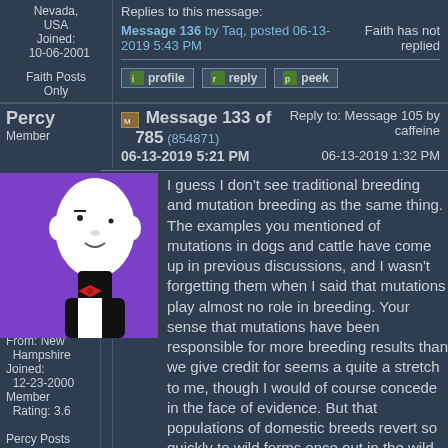Nevada, USA
Joined: 10-06-2001
Replies to this message:
Message 136 by Taq, posted 06-13-2019 5:43 PM
Faith has not replied
Faith Posts Only
[Figure (screenshot): Forum action buttons: profile, reply, peek]
Percy
Member
Message 133 of 785 (854871)
06-13-2019 5:21 PM
Reply to: Message 105 by caffeine
06-13-2019 1:32 PM
[Figure (illustration): Percy member avatar: cartoon character with bow tie on purple background]
I guess I don't see traditional breeding and mutation breeding as the same thing. The examples you mentioned of mutations in dogs and cattle have come up in previous discussions, and I wasn't forgetting them when I said that mutations play almost no role in breeding. Your sense that mutations have been responsible for more breeding results than we give credit for seems a quite a stretch to me, though I would of course concede in the face of evidence. But that populations of domestic breeds revert so quickly to wild forms once out in the wild (see, for example, When domesticated
Posts: 21010
From: New Hampshire
Joined: 12-23-2000
Member Rating: 3.6
Percy Posts